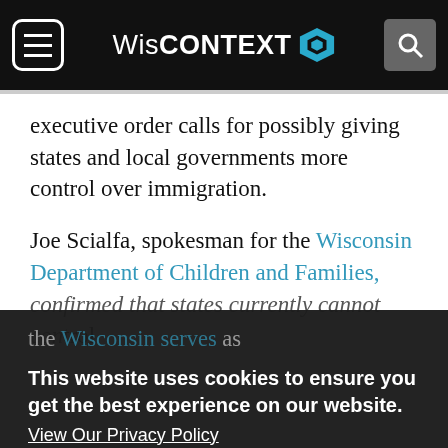WisCONTEXT
executive order calls for possibly giving states and local governments more control over immigration.
Joe Scialfa, spokesman for the Wisconsin Department of Children and Families, confirmed that states currently cannot control the federal money used for resettlement by designated nonprofit agencies. Scialfa said.
This website uses cookies to ensure you get the best experience on our website.
View Our Privacy Policy
Got it!